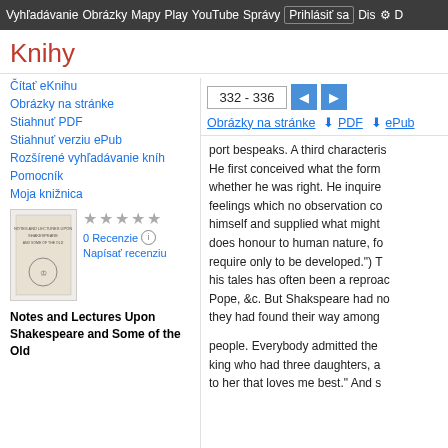Vyhľadávanie  Obrázky  Mapy  Play  YouTube  Správy  Prihlásiť sa  Dis  D
Knihy
Čítať eKnihu
Obrázky na stránke
Stiahnuť PDF
Stiahnuť verziu ePub
Rozšírené vyhľadávanie kníh
Pomocník
Moja knižnica
[Figure (illustration): Book cover thumbnail for Notes and Lectures Upon Shakespeare]
0 Recenzie
Napísať recenziu
Notes and Lectures Upon
Shakespeare and Some of the Old
332 - 336
Obrázky na stránke   ↓ PDF   ↓ ePub
port bespeaks. A third characteris He first conceived what the form whether he was right. He inquire feelings which no observation co himself and supplied what might does honour to human nature, fo require only to be developed.") T his tales has often been a reproac Pope, &c. But Shakspeare had no they had found their way among
people. Everybody admitted the king who had three daughters, a to her that loves me best." And s